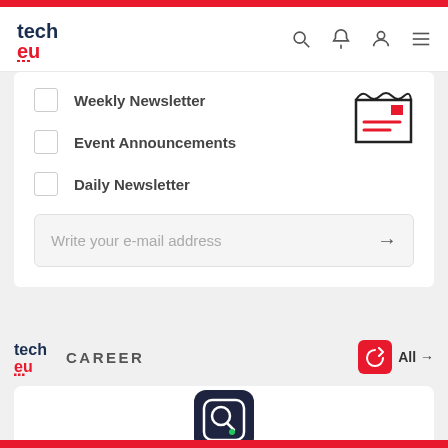tech eu — navigation bar with search, bell, user and menu icons
Weekly Newsletter
Event Announcements
Daily Newsletter
Write your e-mail address
[Figure (illustration): Envelope illustration with a red square and two red lines representing content]
tech eu CAREER
[Figure (logo): App icon with a dark navy background, a rounded square frame with a magnifying glass inside, and a green accent dot]